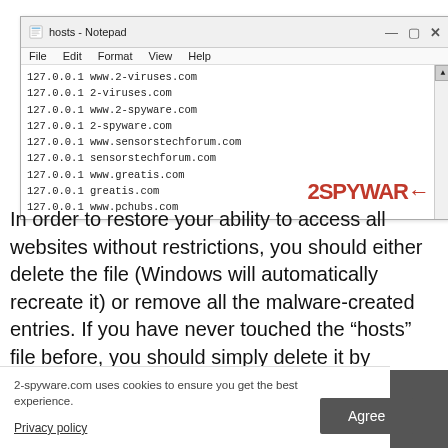[Figure (screenshot): Windows Notepad window titled 'hosts - Notepad' showing a hosts file with entries mapping 127.0.0.1 to several domains including 2-viruses.com, 2-spyware.com, sensorstechforum.com, greatis.com, and www.pchubs.com. A 2SPYWARE watermark appears in the bottom-right of the window.]
In order to restore your ability to access all websites without restrictions, you should either delete the file (Windows will automatically recreate it) or remove all the malware-created entries. If you have never touched the “hosts” file before, you should simply delete it by marking it and pressing Shift + Del on your keyboard. For that, navigate to the following
2-spyware.com uses cookies to ensure you get the best experience.
Privacy policy